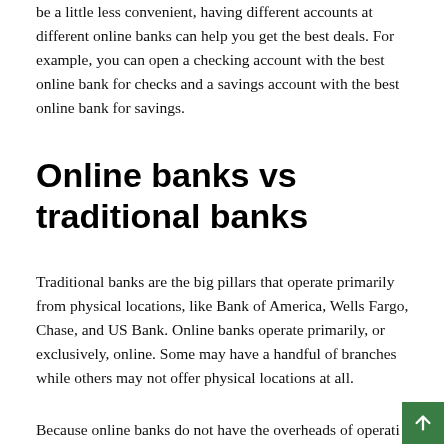be a little less convenient, having different accounts at different online banks can help you get the best deals. For example, you can open a checking account with the best online bank for checks and a savings account with the best online bank for savings.
Online banks vs traditional banks
Traditional banks are the big pillars that operate primarily from physical locations, like Bank of America, Wells Fargo, Chase, and US Bank. Online banks operate primarily, or exclusively, online. Some may have a handful of branches while others may not offer physical locations at all.
Because online banks do not have the overheads of operati…